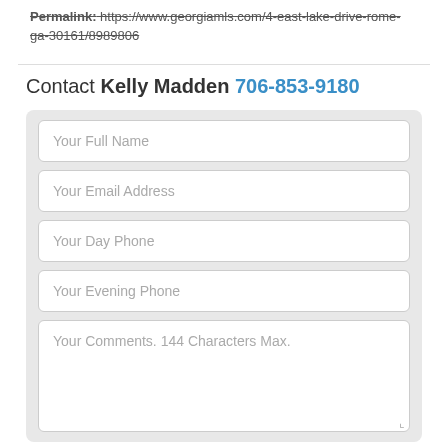Permalink: https://www.georgiamls.com/4-east-lake-drive-rome-ga-30161/8989806
Contact Kelly Madden 706-853-9180
[Figure (screenshot): Contact form with fields: Your Full Name, Your Email Address, Your Day Phone, Your Evening Phone, Your Comments (144 Characters Max), and a character counter showing 0 of 144]